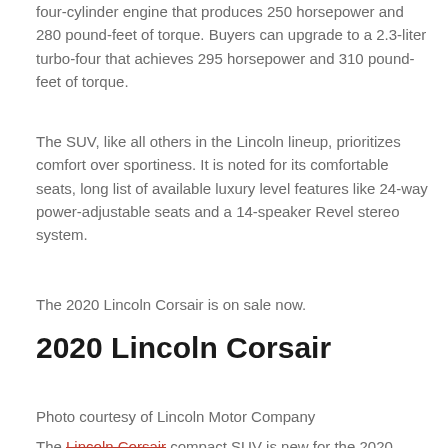four-cylinder engine that produces 250 horsepower and 280 pound-feet of torque. Buyers can upgrade to a 2.3-liter turbo-four that achieves 295 horsepower and 310 pound-feet of torque.
The SUV, like all others in the Lincoln lineup, prioritizes comfort over sportiness. It is noted for its comfortable seats, long list of available luxury level features like 24-way power-adjustable seats and a 14-speaker Revel stereo system.
The 2020 Lincoln Corsair is on sale now.
2020 Lincoln Corsair
Photo courtesy of Lincoln Motor Company
The Lincoln Corsair compact SUV is new for the 2020 model year, replacing the discontinued MKC in the